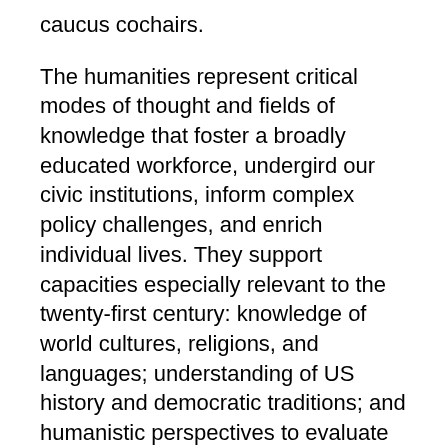caucus cochairs.
The humanities represent critical modes of thought and fields of knowledge that foster a broadly educated workforce, undergird our civic institutions, inform complex policy challenges, and enrich individual lives. They support capacities especially relevant to the twenty-first century: knowledge of world cultures, religions, and languages; understanding of US history and democratic traditions; and humanistic perspectives to evaluate the implications of scientific and technological advances. Now is the time to increase—not diminish—federal investment in the humanities through the NEH.
For more information or to sign onto the letter, congressional offices should contact Kate Roetzer with Rep. David Price (5-1784) or Lindsay Punzenberger with Rep. Thomas Petri (5-5406). The